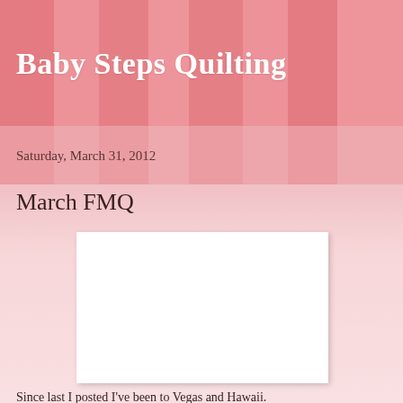Baby Steps Quilting
Saturday, March 31, 2012
March FMQ
[Figure (photo): A blank white image placeholder with a light shadow, representing a quilting photo that failed to load.]
Since last I posted I've been to Vegas and Hawaii.